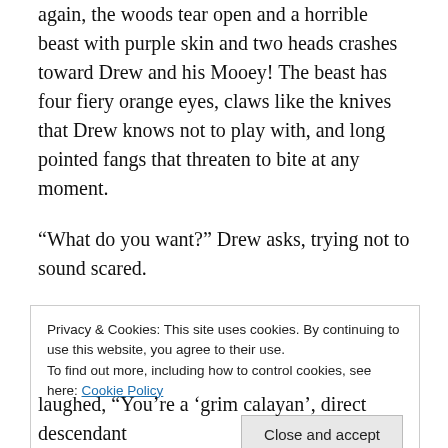again, the woods tear open and a horrible beast with purple skin and two heads crashes toward Drew and his Mooey! The beast has four fiery orange eyes, claws like the knives that Drew knows not to play with, and long pointed fangs that threaten to bite at any moment.
“What do you want?” Drew asks, trying not to sound scared.
“Your Mooey. I eat Mooeys” replies the nasty beast, “and yours looks particularly delicious! ”
The Mooey in Drew’s arms began to shake like Jell-O...
Privacy & Cookies: This site uses cookies. By continuing to use this website, you agree to their use.
To find out more, including how to control cookies, see here: Cookie Policy
laughed, “You’re a ‘grim calayan’, direct descendant...